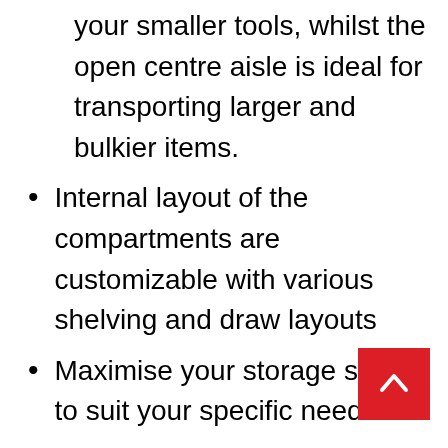your smaller tools, whilst the open centre aisle is ideal for transporting larger and bulkier items.
Internal layout of the compartments are customizable with various shelving and draw layouts
Maximise your storage space to suit your specific needs
The models also feature a rear trundle draw and ladder rack which are standard fitment t Ridgeback Service Bodies